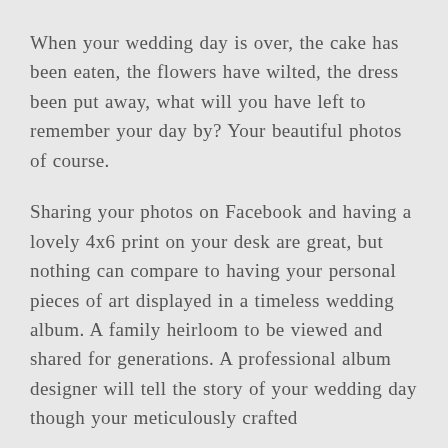When your wedding day is over, the cake has been eaten, the flowers have wilted, the dress been put away, what will you have left to remember your day by? Your beautiful photos of course.
Sharing your photos on Facebook and having a lovely 4x6 print on your desk are great, but nothing can compare to having your personal pieces of art displayed in a timeless wedding album. A family heirloom to be viewed and shared for generations. A professional album designer will tell the story of your wedding day though your meticulously crafted